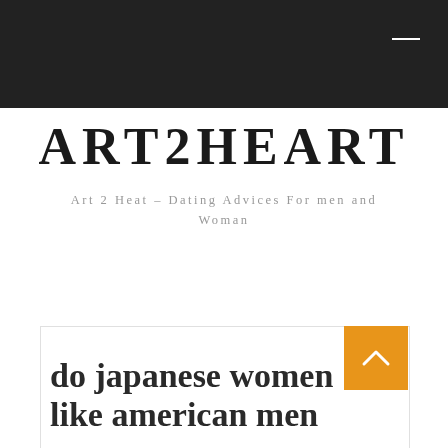ART2HEART
Art 2 Heat – Dating Advices For men and Woman
do japanese women like american men